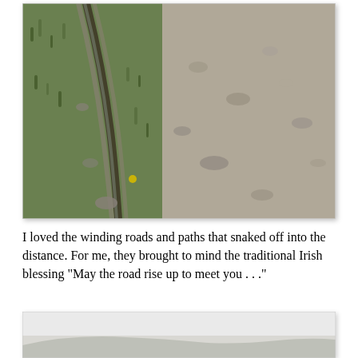[Figure (photo): A winding rocky path or road with a drainage ditch and green grassy vegetation on the left side, stones on the right, typical of rural Irish countryside terrain.]
I loved the winding roads and paths that snaked off into the distance. For me, they brought to mind the traditional Irish blessing "May the road rise up to meet you . . ."
[Figure (photo): A partially visible landscape photograph showing a misty or overcast sky with a distant hillside or mountain, appearing at the bottom of the page.]